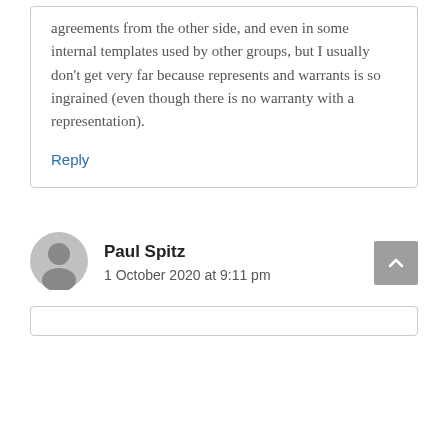agreements from the other side, and even in some internal templates used by other groups, but I usually don't get very far because represents and warrants is so ingrained (even though there is no warranty with a representation).
Reply
Paul Spitz
1 October 2020 at 9:11 pm